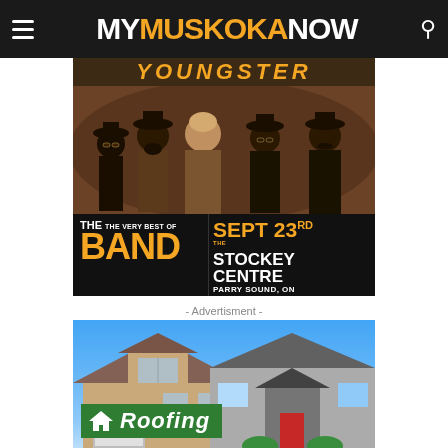MY MUSKOKA NOW
[Figure (photo): Concert advertisement for 'Youngster' performing The Very Best of The Band at The Stockey Centre, Parry Sound, ON on Sept 23rd. Features five men in hats and suits posed in a sepia-toned photo.]
- Advertisment -
[Figure (photo): Roofing company advertisement showing two houses with roofs under a blue sky, with a green logo banner reading 'Roofing' in italic white text.]